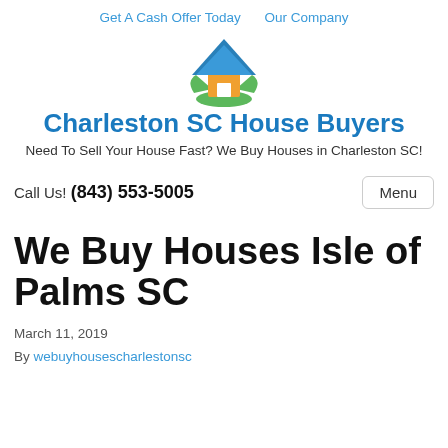Get A Cash Offer Today   Our Company
[Figure (logo): House logo with blue roof, orange house body, green base, white door]
Charleston SC House Buyers
Need To Sell Your House Fast? We Buy Houses in Charleston SC!
Call Us! (843) 553-5005
We Buy Houses Isle of Palms SC
March 11, 2019
By webuyhousescharlestonsc